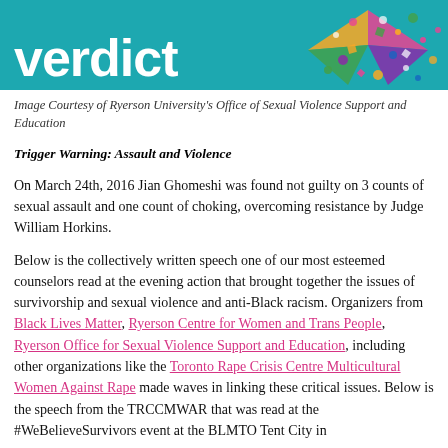[Figure (illustration): Teal/turquoise banner with large white bold text reading 'verdict' and a collage/confetti butterfly graphic on the right side]
Image Courtesy of Ryerson University's Office of Sexual Violence Support and Education
Trigger Warning: Assault and Violence
On March 24th, 2016 Jian Ghomeshi was found not guilty on 3 counts of sexual assault and one count of choking, overcoming resistance by Judge William Horkins.
Below is the collectively written speech one of our most esteemed counselors read at the evening action that brought together the issues of survivorship and sexual violence and anti-Black racism. Organizers from Black Lives Matter, Ryerson Centre for Women and Trans People, Ryerson Office for Sexual Violence Support and Education, including other organizations like the Toronto Rape Crisis Centre Multicultural Women Against Rape made waves in linking these critical issues. Below is the speech from the TRCCMWAR that was read at the #WeBelieveSurvivors event at the BLMTO Tent City in